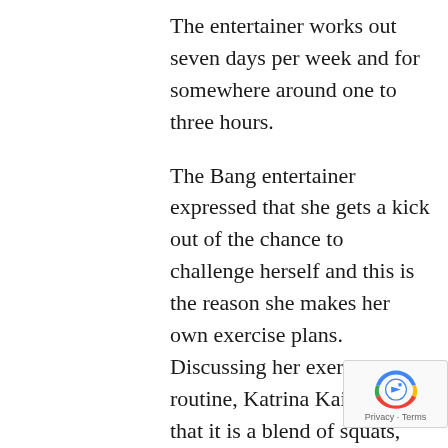The entertainer works out seven days per week and for somewhere around one to three hours.
The Bang entertainer expressed that she gets a kick out of the chance to challenge herself and this is the reason she makes her own exercise plans. Discussing her exercise routine, Katrina Kaif said that it is a blend of squats, push-ups and jumps.
She expressed that she additionally does pilates and yoga. Cardio, weight preparing, just as practical preparing are additionally key provisions of her exercise schedule.
The entertainer expressed that she